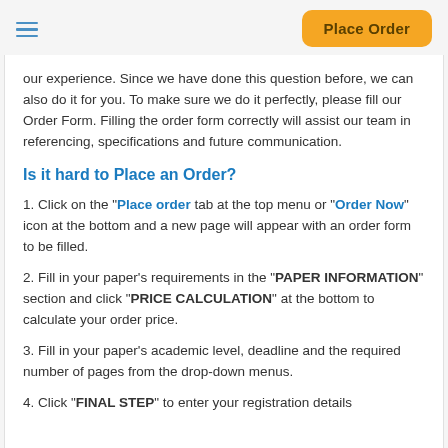Place Order
our experience. Since we have done this question before, we can also do it for you. To make sure we do it perfectly, please fill our Order Form. Filling the order form correctly will assist our team in referencing, specifications and future communication.
Is it hard to Place an Order?
1. Click on the "Place order tab at the top menu or "Order Now" icon at the bottom and a new page will appear with an order form to be filled.
2. Fill in your paper's requirements in the "PAPER INFORMATION" section and click "PRICE CALCULATION" at the bottom to calculate your order price.
3. Fill in your paper's academic level, deadline and the required number of pages from the drop-down menus.
4. Click "FINAL STEP" to enter your registration details